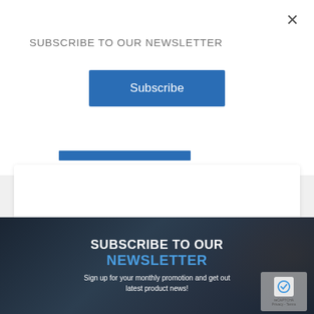SUBSCRIBE TO OUR NEWSLETTER
Subscribe
[Figure (screenshot): Partial view of a website card with a blue bar and white content area below]
SUBSCRIBE TO OUR NEWSLETTER
Sign up for your monthly promotion and get out latest product news!